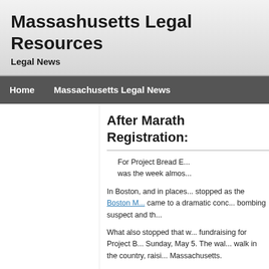Massashusetts Legal Resources
Legal News
Home   Massachusetts Legal News
After Marath... Registrations...
For Project Bread E... was the week almos...
In Boston, and in places... stopped as the Boston M... came to a dramatic conc... bombing suspect and th...
What also stopped that w... fundraising for Project B... Sunday, May 5. The wal... walk in the country, raisi... Massachusetts.